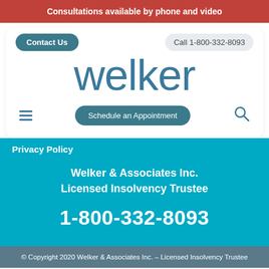Consultations available by phone and video
Contact Us
Call 1-800-332-8093
welker
Schedule an Appointment
Privacy Policy
Welker & Associates Inc.
Licensed Insolvency Trustee
1-800-332-8093
© Copyright 2020 Welker & Associates Inc. – Licensed Insolvency Trustee